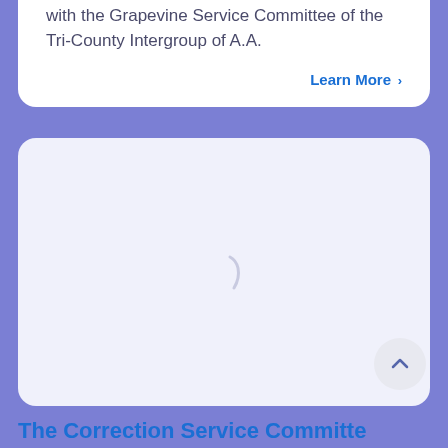with the Grapevine Service Committee of the Tri-County Intergroup of A.A.
Learn More >
[Figure (other): Loading spinner arc (partial circle) on a light lavender card background]
[Figure (other): Scroll-to-top button: circular light gray button with upward chevron arrow]
The Correction Service Committe...